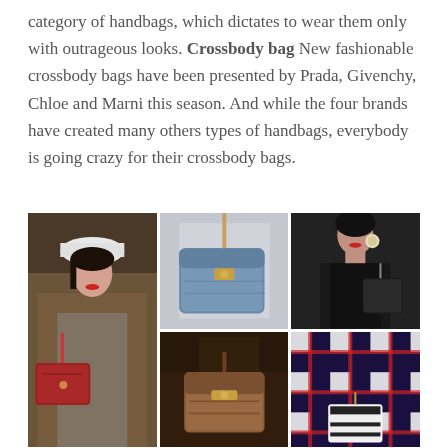category of handbags, which dictates to wear them only with outrageous looks. Crossbody bag New fashionable crossbody bags have been presented by Prada, Givenchy, Chloe and Marni this season. And while the four brands have created many others types of handbags, everybody is going crazy for their crossbody bags.
[Figure (photo): A 3x2 grid of fashion photos showing crossbody bags from runway shows. Top-left: a model wearing a white beret, fur coat, and carrying a red crossbody bag. Top-center: close-up of a blue suede crossbody bag against a white outfit. Top-right: a model in a black halter top with a black crossbody bag. Bottom-left: a dark leather crossbody bag detail. Bottom-center: a brown structured crossbody bag. Bottom-right: a model in a plaid/checked outfit with a small structured bag.]